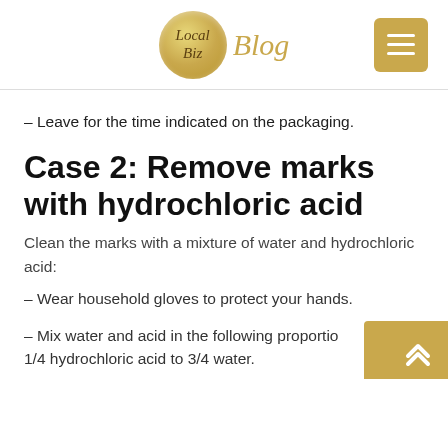Local Biz Blog
– Leave for the time indicated on the packaging.
Case 2: Remove marks with hydrochloric acid
Clean the marks with a mixture of water and hydrochloric acid:
– Wear household gloves to protect your hands.
– Mix water and acid in the following proportions: 1/4 hydrochloric acid to 3/4 water.